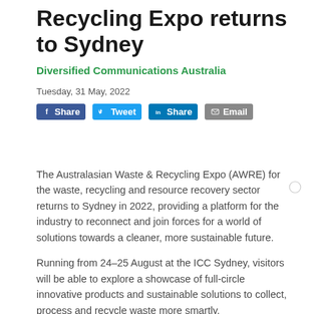Recycling Expo returns to Sydney
Diversified Communications Australia
Tuesday, 31 May, 2022
Share  Tweet  Share  Email
The Australasian Waste & Recycling Expo (AWRE) for the waste, recycling and resource recovery sector returns to Sydney in 2022, providing a platform for the industry to reconnect and join forces for a world of solutions towards a cleaner, more sustainable future.
Running from 24–25 August at the ICC Sydney, visitors will be able to explore a showcase of full-circle innovative products and sustainable solutions to collect, process and recycle waste more smartly.